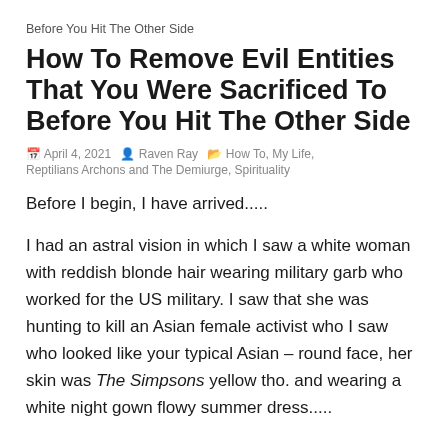Before You Hit The Other Side
How To Remove Evil Entities That You Were Sacrificed To Before You Hit The Other Side
🗓 April 4, 2021  👤 Raven Ray  🗂 How To, My Life, Reptilians Archons and The Demiurge, Spirituality
Before I begin, I have arrived.....
I had an astral vision in which I saw a white woman with reddish blonde hair wearing military garb who worked for the US military. I saw that she was hunting to kill an Asian female activist who I saw who looked like your typical Asian – round face, her skin was The Simpsons yellow tho. and wearing a white night gown flowy summer dress.....